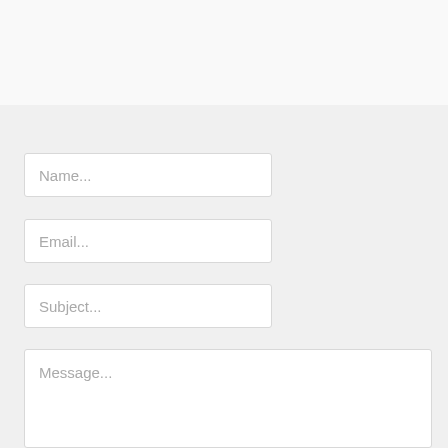[Figure (screenshot): Contact form with four fields: Name, Email, Subject (all text input boxes), and Message (textarea). Fields are displayed on a light gray background.]
Name...
Email...
Subject...
Message...